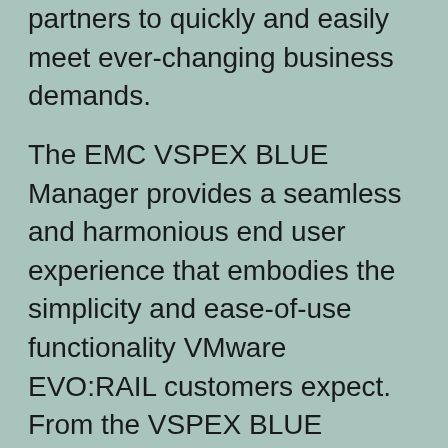partners to quickly and easily meet ever-changing business demands.
The EMC VSPEX BLUE Manager provides a seamless and harmonious end user experience that embodies the simplicity and ease-of-use functionality VMware EVO:RAIL customers expect. From the VSPEX BLUE Manager, users can conveniently access electronic services, such as EMC knowledge base articles, access a wealth of community sourced online and real time information and familiarize themselves with EMC best practices for optimal appliance operations. The VSPEX